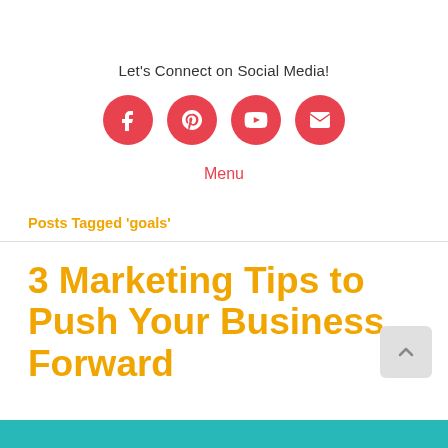Let's Connect on Social Media!
[Figure (infographic): Four red circular social media icons: Facebook, Pinterest, YouTube, Email]
Menu
Posts Tagged 'goals'
3 Marketing Tips to Push Your Business Forward